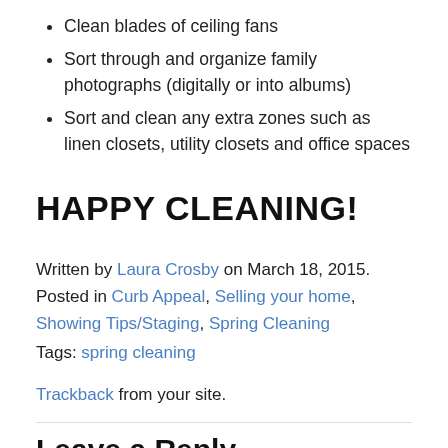Clean blades of ceiling fans
Sort through and organize family photographs (digitally or into albums)
Sort and clean any extra zones such as linen closets, utility closets and office spaces
HAPPY CLEANING!
Written by Laura Crosby on March 18, 2015. Posted in Curb Appeal, Selling your home, Showing Tips/Staging, Spring Cleaning
Tags: spring cleaning
Trackback from your site.
Leave a Reply